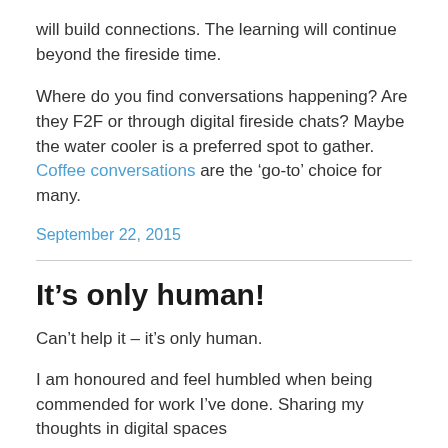will build connections. The learning will continue beyond the fireside time.
Where do you find conversations happening? Are they F2F or through digital fireside chats? Maybe the water cooler is a preferred spot to gather. Coffee conversations are the ‘go-to’ choice for many.
September 22, 2015
It’s only human!
Can’t help it – it’s only human.
I am honoured and feel humbled when being commended for work I’ve done. Sharing my thoughts in digital spaces